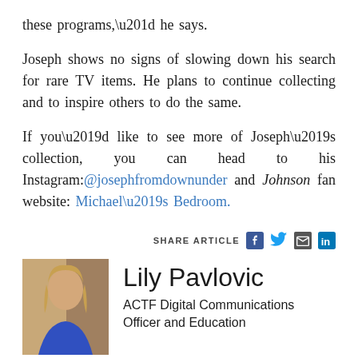these programs,” he says.
Joseph shows no signs of slowing down his search for rare TV items. He plans to continue collecting and to inspire others to do the same.
If you’d like to see more of Joseph’s collection, you can head to his Instagram:@josephfromdownunder and Johnson fan website: Michael’s Bedroom.
SHARE ARTICLE
[Figure (other): Author photo of Lily Pavlovic]
Lily Pavlovic
ACTF Digital Communications Officer and Education